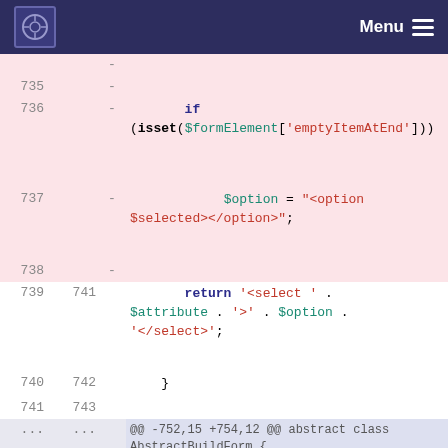Menu
[Figure (screenshot): Code diff view showing PHP code changes, lines 735-755, with removed lines highlighted in pink and context lines in light purple/gray. Shows if/isset block, return statement with select HTML, and buildSubrecord function signature.]